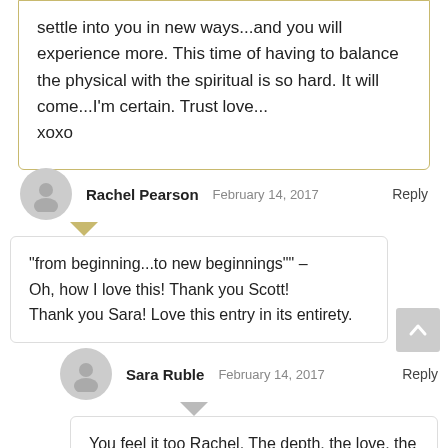settle into you in new ways...and you will experience more. This time of having to balance the physical with the spiritual is so hard. It will come...I'm certain. Trust love... xoxo
Rachel Pearson  February 14, 2017  Reply
“from beginning...to new beginnings”” –
Oh, how I love this! Thank you Scott!
Thank you Sara! Love this entry in its entirety.
Sara Ruble  February 14, 2017  Reply
You feel it too Rachel. The depth, the love, the